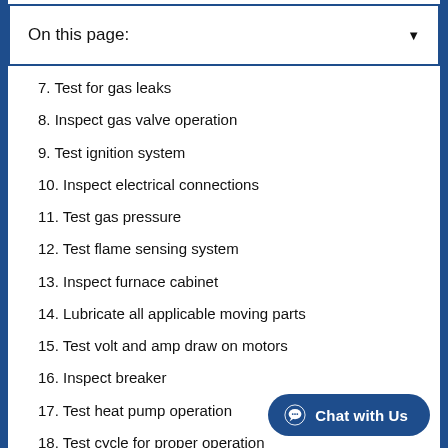On this page:
7. Test for gas leaks
8. Inspect gas valve operation
9. Test ignition system
10. Inspect electrical connections
11. Test gas pressure
12. Test flame sensing system
13. Inspect furnace cabinet
14. Lubricate all applicable moving parts
15. Test volt and amp draw on motors
16. Inspect breaker
17. Test heat pump operation
18. Test cycle for proper operation